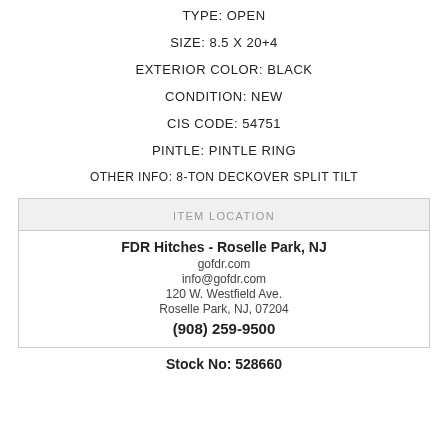TYPE: OPEN
SIZE: 8.5 X 20+4
EXTERIOR COLOR: BLACK
CONDITION: NEW
CIS CODE: 54751
PINTLE: PINTLE RING
OTHER INFO: 8-TON DECKOVER SPLIT TILT
ITEM LOCATION
FDR Hitches - Roselle Park, NJ
gofdr.com
info@gofdr.com
120 W. Westfield Ave.
Roselle Park, NJ, 07204
(908) 259-9500
Stock No: 528660